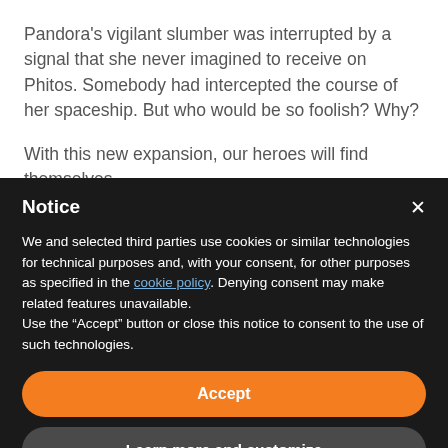Pandora’s vigilant slumber was interrupted by a signal that she never imagined to receive on Phitos. Somebody had intercepted the course of her spaceship. But who would be so foolish? Why?
With this new expansion, our heroes will find themselves
Notice
We and selected third parties use cookies or similar technologies for technical purposes and, with your consent, for other purposes as specified in the cookie policy. Denying consent may make related features unavailable.
Use the “Accept” button or close this notice to consent to the use of such technologies.
Accept
Learn more and customize